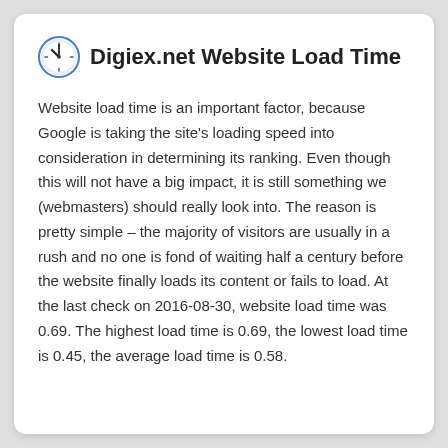Digiex.net Website Load Time
Website load time is an important factor, because Google is taking the site's loading speed into consideration in determining its ranking. Even though this will not have a big impact, it is still something we (webmasters) should really look into. The reason is pretty simple – the majority of visitors are usually in a rush and no one is fond of waiting half a century before the website finally loads its content or fails to load. At the last check on 2016-08-30, website load time was 0.69. The highest load time is 0.69, the lowest load time is 0.45, the average load time is 0.58.